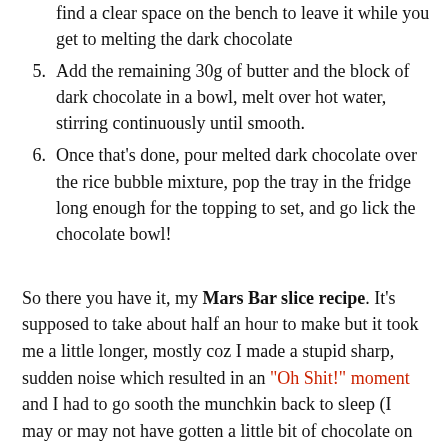4. [partial] find a clear space on the bench to leave it while you get to melting the dark chocolate
5. Add the remaining 30g of butter and the block of dark chocolate in a bowl, melt over hot water, stirring continuously until smooth.
6. Once that's done, pour melted dark chocolate over the rice bubble mixture, pop the tray in the fridge long enough for the topping to set, and go lick the chocolate bowl!
So there you have it, my Mars Bar slice recipe. It's supposed to take about half an hour to make but it took me a little longer, mostly coz I made a stupid sharp, sudden noise which resulted in an "Oh Shit!" moment and I had to go sooth the munchkin back to sleep (I may or may not have gotten a little bit of chocolate on her sleeping bag!). Serves me right for making it at 11 o'